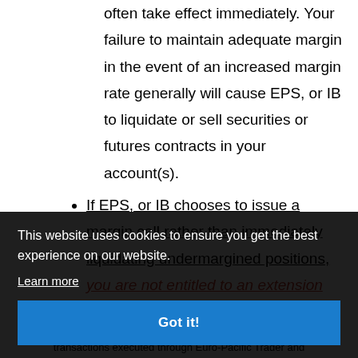often take effect immediately. Your failure to maintain adequate margin in the event of an increased margin rate generally will cause EPS, or IB to liquidate or sell securities or futures contracts in your account(s).
If EPS, or IB chooses to issue a margin call rather than immediately liquidating undermargined positions, you are not entitled to an extension
This website uses cookies to ensure you get the best experience on our website.
Learn more
Got it!
transactions executed through Euro-Pacific Trader and